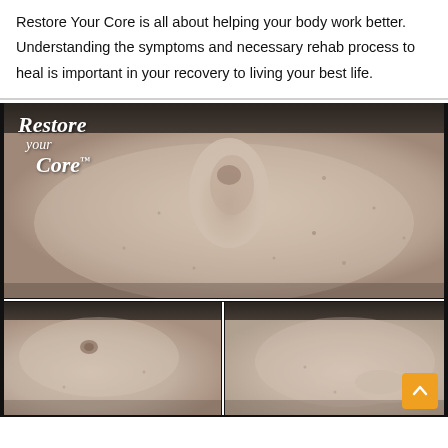Restore Your Core is all about helping your body work better. Understanding the symptoms and necessary rehab process to heal is important in your recovery to living your best life.
[Figure (photo): Clinical photo collage showing a person's abdomen/core area with visible diastasis recti or hernia. Top large image shows upper abdomen with a visible protrusion near navel, with 'Restore your Core™' logo overlaid in white italic text. Bottom left shows lower abdomen area. Bottom right shows abdomen with hand touching it. Orange scroll-to-top button visible in bottom right corner.]